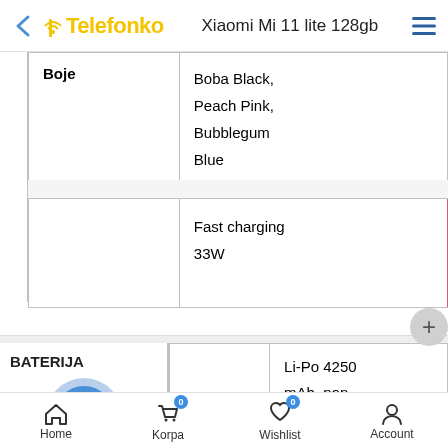Telefonko — Xiaomi Mi 11 lite 128gb
| Boje |  |
| --- | --- |
| Boje | Boba Black, Peach Pink, Bubblegum Blue |
|  |  |
| --- | --- |
|  | Fast charging 33W |
BATERIJA
|  |  |
| --- | --- |
|  | Li-Po 4250 mAh, non-removable |
Home  Korpa 0  Wishlist 0  Account